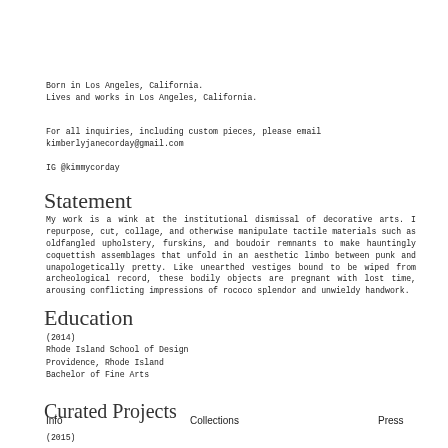Born in Los Angeles, California.
Lives and works in Los Angeles, California.
For all inquiries, including custom pieces, please email kimberlyjanecorday@gmail.com
IG @kimmycorday
Statement
My work is a wink at the institutional dismissal of decorative arts. I repurpose, cut, collage, and otherwise manipulate tactile materials such as oldfangled upholstery, furskins, and boudoir remnants to make hauntingly coquettish assemblages that unfold in an aesthetic limbo between punk and unapologetically pretty. Like unearthed vestiges bound to be wiped from archeological record, these bodily objects are pregnant with lost time, arousing conflicting impressions of rococo splendor and unwieldy handwork.
Education
(2014)
Rhode Island School of Design
Providence, Rhode Island
Bachelor of Fine Arts
Curated Projects
(2015)
Info    Collections    Press